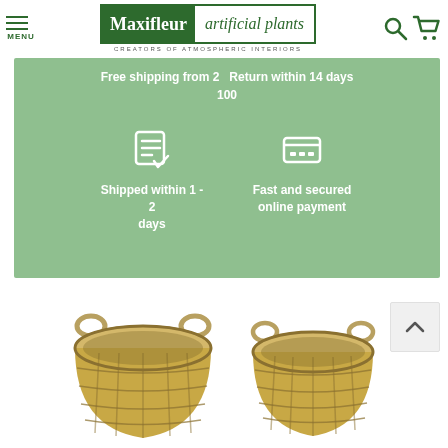[Figure (logo): Maxifleur artificial plants logo with green background on left and white background on right, tagline CREATORS OF ATMOSPHERIC INTERIORS]
[Figure (infographic): Green banner with text: Free shipping from 2, Return within 14 days, 100. Two icons: checklist (Shipped within 1-2 days) and credit card (Fast and secured online payment)]
[Figure (photo): Two woven seagrass plant baskets with handles, natural tan/beige color, round shape with textured weave pattern]